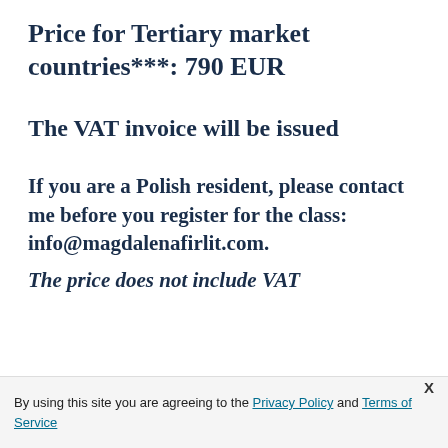Price for Tertiary market countries***: 790 EUR
The VAT invoice will be issued
If you are a Polish resident, please contact me before you register for the class: info@magdalenafirlit.com.
The price does not include VAT
By using this site you are agreeing to the Privacy Policy and Terms of Service